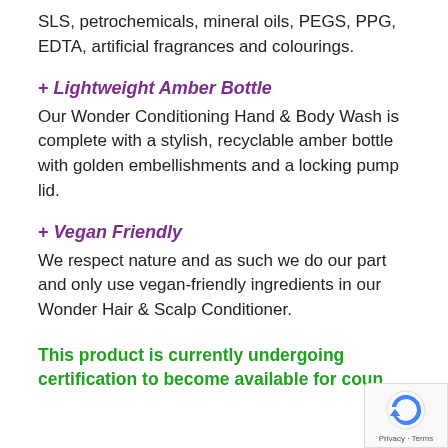SLS, petrochemicals, mineral oils, PEGS, PPG, EDTA, artificial fragrances and colourings.
+ Lightweight Amber Bottle
Our Wonder Conditioning Hand & Body Wash is complete with a stylish, recyclable amber bottle with golden embellishments and a locking pump lid.
+ Vegan Friendly
We respect nature and as such we do our part and only use vegan-friendly ingredients in our Wonder Hair & Scalp Conditioner.
This product is currently undergoing certification to become available for count... in the European Union. Please check back...